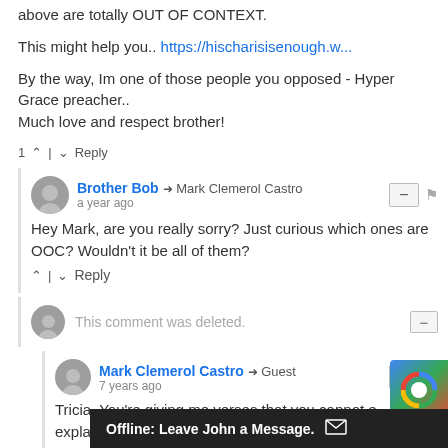above are totally OUT OF CONTEXT.
This might help you.. https://hischarisisenough.w...
By the way, Im one of those people you opposed - Hyper Grace preacher..
Much love and respect brother!
1  ^  |  v  Reply
Brother Bob → Mark Clemerol Castro
a year ago
Hey Mark, are you really sorry? Just curious which ones are OOC? Wouldn't it be all of them?
^  |  v  Reply
This comment was deleted.
Mark Clemerol Castro → Guest
7 years ago
Tricia. You're giving me verses that you cannot e... explain in Context.I g... How to rightly divide t...
Offline: Leave John a Message.